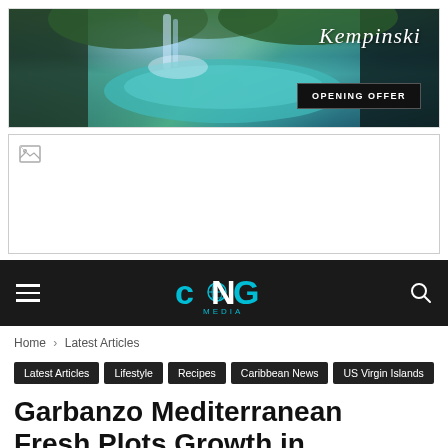[Figure (photo): Kempinski hotel advertisement banner showing a tropical waterfall and turquoise pool with 'Kempinski' text and 'OPENING OFFER' button]
[Figure (photo): Second advertisement banner with broken/unloaded image (white background with broken image icon)]
CNG MEDIA navigation bar with hamburger menu, CNG Media logo, and search icon
Home › Latest Articles
Latest Articles
Lifestyle
Recipes
Caribbean News
US Virgin Islands
Garbanzo Mediterranean Fresh Plots Growth in